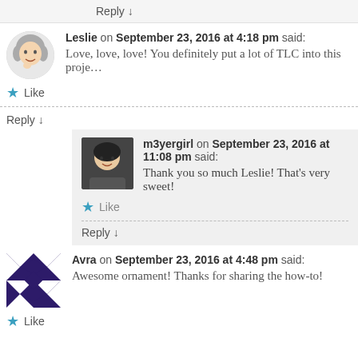Reply ↓
Leslie on September 23, 2016 at 4:18 pm said:
Love, love, love! You definitely put a lot of TLC into this proje…
Like
Reply ↓
m3yergirl on September 23, 2016 at 11:08 pm said:
Thank you so much Leslie! That's very sweet!
Like
Reply ↓
Avra on September 23, 2016 at 4:48 pm said:
Awesome ornament! Thanks for sharing the how-to!
Like